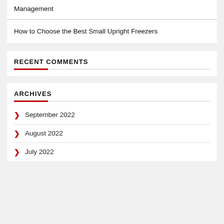Management
How to Choose the Best Small Upright Freezers
RECENT COMMENTS
ARCHIVES
September 2022
August 2022
July 2022